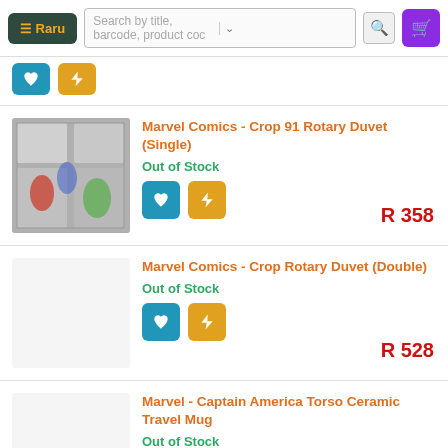Raru — Search by title, barcode, product code
[Figure (screenshot): Partial product row showing two action buttons (heart and lightning bolt) at top of page]
Marvel Comics - Crop 91 Rotary Duvet (Single)
Out of Stock
R 358
Marvel Comics - Crop Rotary Duvet (Double)
Out of Stock
R 528
Marvel - Captain America Torso Ceramic Travel Mug
Out of Stock
R 253